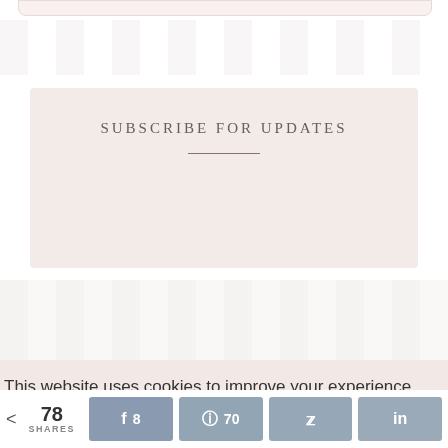[Figure (other): Top rounded pink/beige box partial view at top of page]
[Figure (other): Striped repeating column banner in muted pink/beige tones]
SUBSCRIBE FOR UPDATES
[Figure (other): Second striped repeating column banner in muted pink tones]
[Figure (other): Solid pink/beige horizontal bar]
This website uses cookies to improve your experience. We'll assume you're ok with this, but you can opt-out if you wish.
< 78 SHARES  [Facebook] 8  [Pinterest] 70  [Twitter]  [LinkedIn]